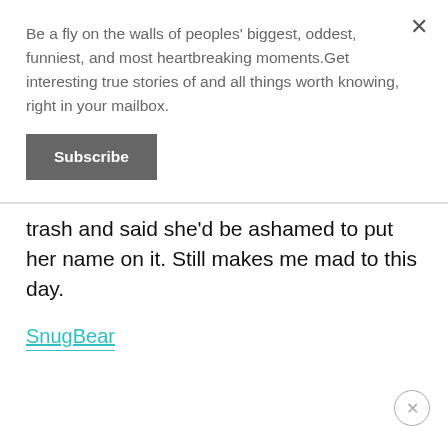Be a fly on the walls of peoples' biggest, oddest, funniest, and most heartbreaking moments.Get interesting true stories of and all things worth knowing, right in your mailbox.
Subscribe
trash and said she'd be ashamed to put her name on it. Still makes me mad to this day.
SnugBear